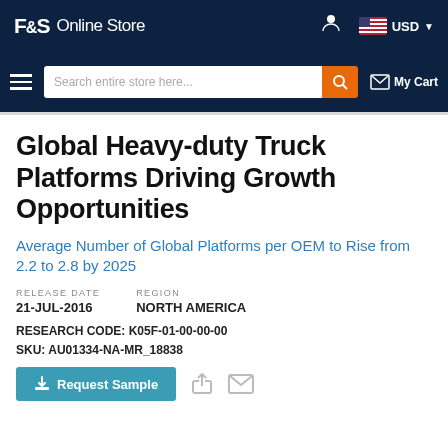F&S Online Store  USD
[Figure (screenshot): Navigation bar with hamburger menu, search bar, and My Cart link]
Global Heavy-duty Truck Platforms Driving Growth Opportunities
Average Number of Global Platforms per OEM to Rise from 2.2 to 2.8 by 2025
RELEASE DATE
21-JUL-2016

REGION
NORTH AMERICA
RESEARCH CODE: K05F-01-00-00-00
SKU: AU01334-NA-MR_18838
[Figure (screenshot): Request Sample button with share and mail icons]